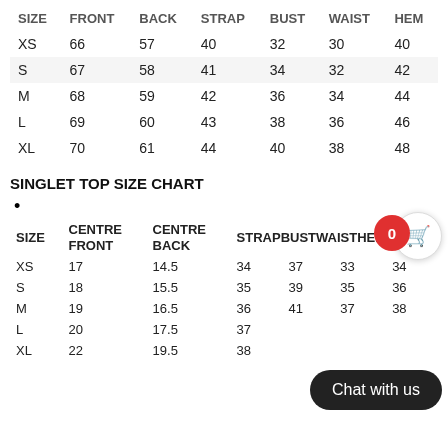| SIZE | FRONT | BACK | STRAP | BUST | WAIST | HEM |
| --- | --- | --- | --- | --- | --- | --- |
| XS | 66 | 57 | 40 | 32 | 30 | 40 |
| S | 67 | 58 | 41 | 34 | 32 | 42 |
| M | 68 | 59 | 42 | 36 | 34 | 44 |
| L | 69 | 60 | 43 | 38 | 36 | 46 |
| XL | 70 | 61 | 44 | 40 | 38 | 48 |
SINGLET TOP SIZE CHART
•
| SIZE | CENTRE FRONT | CENTRE BACK | STRAP | BUST | WAIST | HEM |
| --- | --- | --- | --- | --- | --- | --- |
| XS | 17 | 14.5 | 34 | 37 | 33 | 34 |
| S | 18 | 15.5 | 35 | 39 | 35 | 36 |
| M | 19 | 16.5 | 36 | 41 | 37 | 38 |
| L | 20 | 17.5 | 37 |  |  |  |
| XL | 22 | 19.5 | 38 |  |  |  |